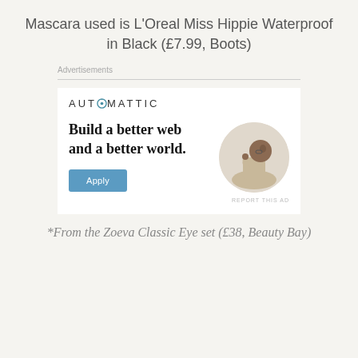Mascara used is L'Oreal Miss Hippie Waterproof in Black (£7.99, Boots)
Advertisements
[Figure (infographic): Automattic advertisement with logo, headline 'Build a better web and a better world.', an Apply button, and a circular portrait photo of a man thinking at a desk.]
*From the Zoeva Classic Eye set (£38, Beauty Bay)